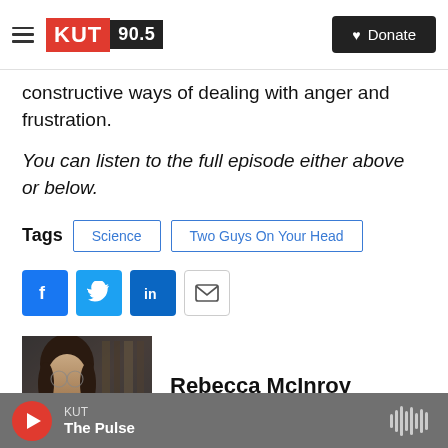KUT 90.5 | Donate
constructive ways of dealing with anger and frustration.
You can listen to the full episode either above or below.
Tags: Science | Two Guys On Your Head
[Figure (other): Social sharing icons: Facebook, Twitter, LinkedIn, Email]
[Figure (photo): Headshot of Rebecca McInroy, a woman with dark hair, against a bookshelf background]
Rebecca McInroy
KUT | The Pulse